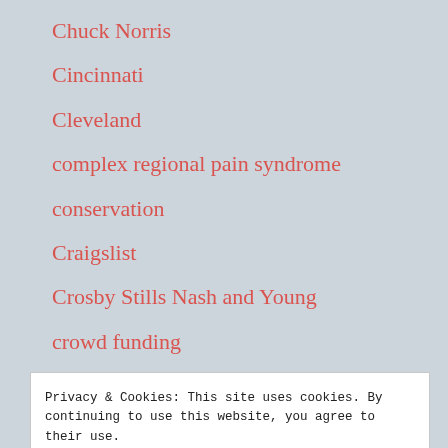Chuck Norris
Cincinnati
Cleveland
complex regional pain syndrome
conservation
Craigslist
Crosby Stills Nash and Young
crowd funding
Privacy & Cookies: This site uses cookies. By continuing to use this website, you agree to their use.
To find out more, including how to control cookies, see here: Cookie Policy